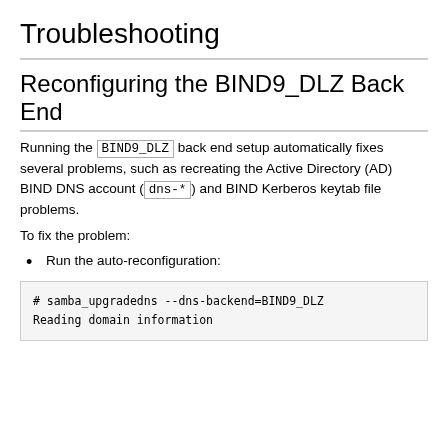Troubleshooting
Reconfiguring the BIND9_DLZ Back End
Running the BIND9_DLZ back end setup automatically fixes several problems, such as recreating the Active Directory (AD) BIND DNS account (dns-*) and BIND Kerberos keytab file problems.
To fix the problem:
Run the auto-reconfiguration:
# samba_upgradedns --dns-backend=BIND9_DLZ
Reading domain information